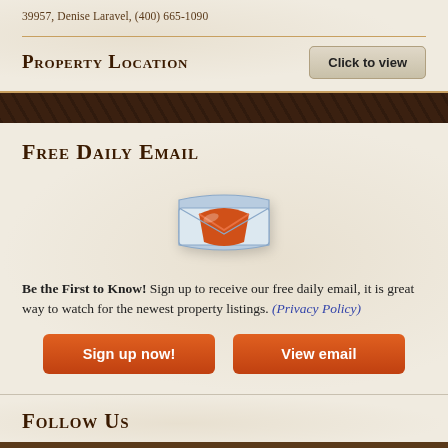39957, Denise Laravel, (400) 665-1090
Property Location
[Figure (illustration): Envelope icon with orange and blue coloring representing email]
Free Daily Email
Be the First to Know! Sign up to receive our free daily email, it is great way to watch for the newest property listings. (Privacy Policy)
Follow Us